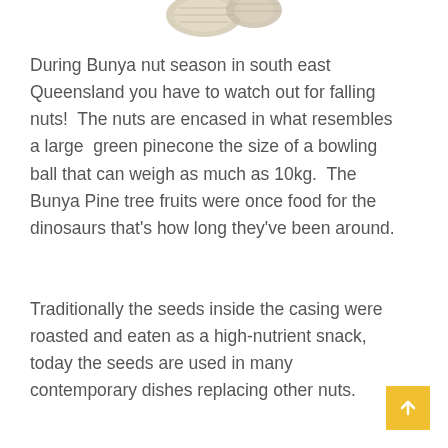[Figure (photo): Partial view of Bunya nuts at the top of the page]
During Bunya nut season in south east Queensland you have to watch out for falling nuts!  The nuts are encased in what resembles a large green pinecone the size of a bowling ball that can weigh as much as 10kg.  The Bunya Pine tree fruits were once food for the dinosaurs that's how long they've been around.
Traditionally the seeds inside the casing were roasted and eaten as a high-nutrient snack, today the seeds are used in many contemporary dishes replacing other nuts.